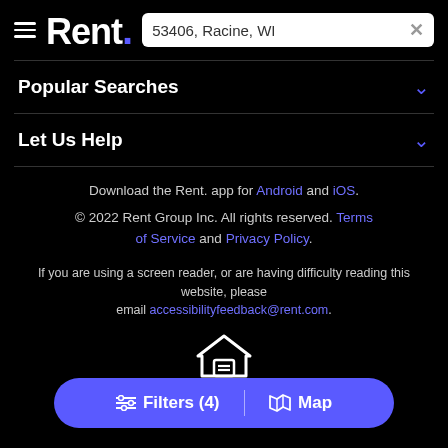Rent. — 53406, Racine, WI
Popular Searches
Let Us Help
Download the Rent. app for Android and iOS.
© 2022 Rent Group Inc. All rights reserved. Terms of Service and Privacy Policy.
If you are using a screen reader, or are having difficulty reading this website, please email accessibilityfeedback@rent.com.
[Figure (illustration): Equal housing opportunity house icon]
Filters (4) | Map